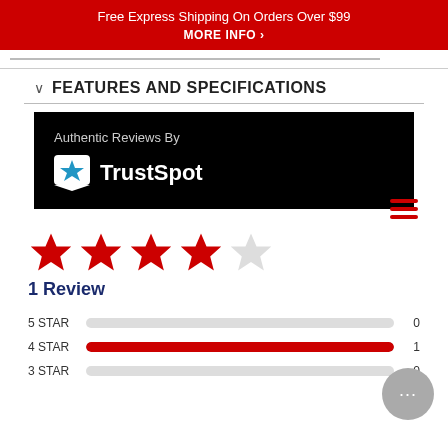Free Express Shipping On Orders Over $99
MORE INFO ›
FEATURES AND SPECIFICATIONS
[Figure (logo): TrustSpot authentic reviews logo on black background with text 'Authentic Reviews By TrustSpot']
[Figure (infographic): 4 out of 5 stars rating display with 1 Review and rating bar breakdown: 5 STAR: 0, 4 STAR: 1, 3 STAR: 0]